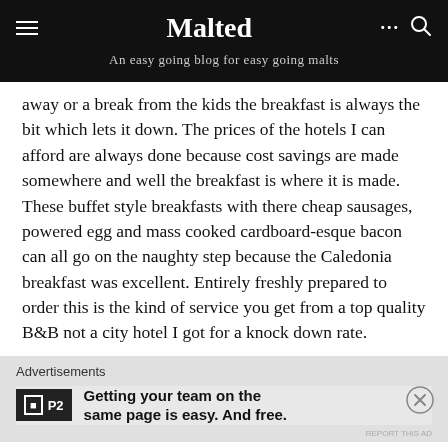Malted
An easy going blog for easy going malts
away or a break from the kids the breakfast is always the bit which lets it down. The prices of the hotels I can afford are always done because cost savings are made somewhere and well the breakfast is where it is made. These buffet style breakfasts with there cheap sausages, powered egg and mass cooked cardboard-esque bacon can all go on the naughty step because the Caledonia breakfast was excellent. Entirely freshly prepared to order this is the kind of service you get from a top quality B&B not a city hotel I got for a knock down rate.
Advertisements
P2 Getting your team on the same page is easy. And free.